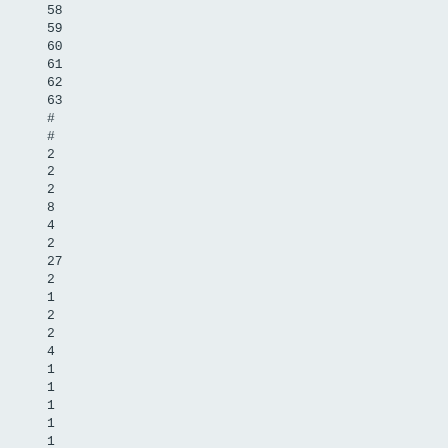58
59
60
61
62
63
#
#
2
2
2
8
4
2
27
2
1
2
2
4
1
1
1
1
1
1
4
1
1
4
1
1
1